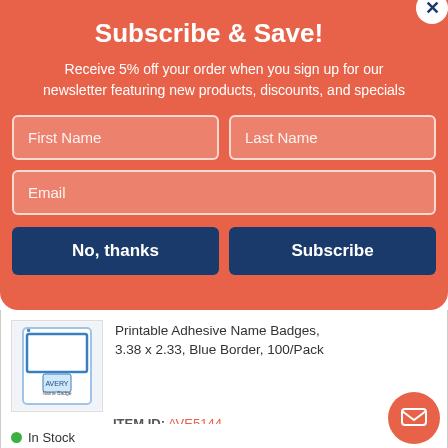Subscribe & Save!
Receive 5% off your order when you sign up for our newsletter featuring new products, discounts, and specials
First Name [input field]
Last Name [input field]
Email [input field]
No, thanks | Subscribe [buttons]
Printable Adhesive Name Badges, 3.38 x 2.33, Blue Border, 100/Pack
ITEM ID: AVE5144
$3.34 PK
Qty 1 Add to Cart
In Stock